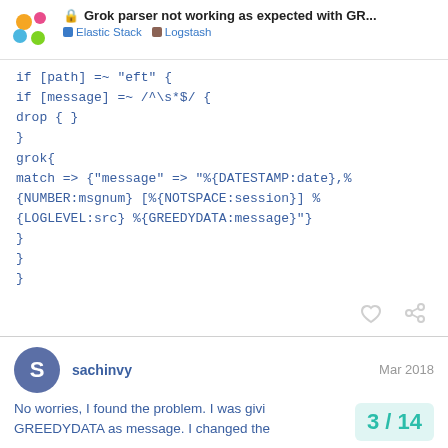Grok parser not working as expected with GR... | Elastic Stack > Logstash
if [path] =~ "eft" {
if [message] =~ /^\s*$/ {
drop { }
}
grok{
match => {"message" => "%{DATESTAMP:date},%{NUMBER:msgnum} [%{NOTSPACE:session}] %{LOGLEVEL:src} %{GREEDYDATA:message}"}
}
}
}
sachinvy  Mar 2018
No worries, I found the problem. I was givi GREEDYDATA as message. I changed the
3 / 14